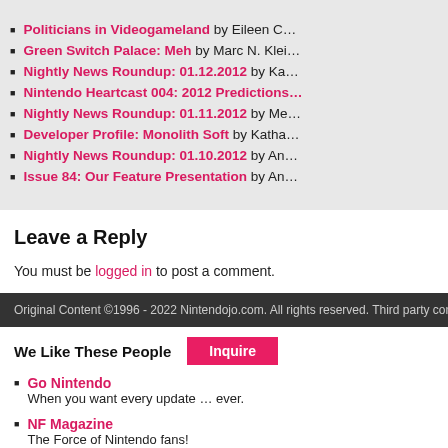Politicians in Videogameland by Eileen C…
Green Switch Palace: Meh by Marc N. Klei…
Nightly News Roundup: 01.12.2012 by Ka…
Nintendo Heartcast 004: 2012 Predictions…
Nightly News Roundup: 01.11.2012 by Me…
Developer Profile: Monolith Soft by Katha…
Nightly News Roundup: 01.10.2012 by An…
Issue 84: Our Feature Presentation by An…
Leave a Reply
You must be logged in to post a comment.
Original Content ©1996 - 2022 Nintendojo.com. All rights reserved. Third party content c…
We Like These People
Go Nintendo — When you want every update … ever.
NF Magazine — The Force of Nintendo fans!
Nintendojo FR — Our French sister site!
Zelda Informer — Zelda news, walkthroughs and more